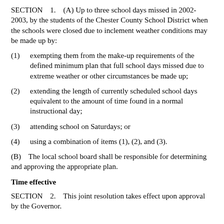SECTION    1.    (A) Up to three school days missed in 2002-2003, by the students of the Chester County School District when the schools were closed due to inclement weather conditions may be made up by:
(1)    exempting them from the make-up requirements of the defined minimum plan that full school days missed due to extreme weather or other circumstances be made up;
(2)    extending the length of currently scheduled school days equivalent to the amount of time found in a normal instructional day;
(3)    attending school on Saturdays; or
(4)    using a combination of items (1), (2), and (3).
(B)    The local school board shall be responsible for determining and approving the appropriate plan.
Time effective
SECTION    2.    This joint resolution takes effect upon approval by the Governor.